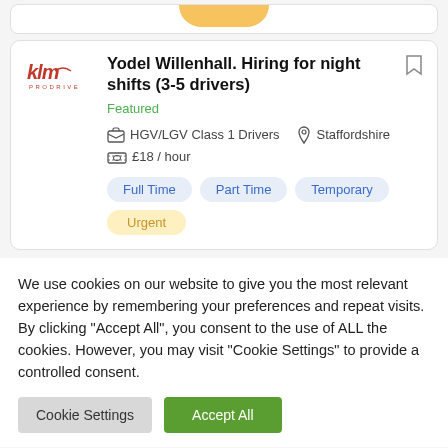[Figure (screenshot): Partial top card showing a yellow/orange element at top]
Yodel Willenhall. Hiring for night shifts (3-5 drivers)
Featured
HGV/LGV Class 1 Drivers
Staffordshire
£18 / hour
Full Time
Part Time
Temporary
Urgent
We use cookies on our website to give you the most relevant experience by remembering your preferences and repeat visits. By clicking "Accept All", you consent to the use of ALL the cookies. However, you may visit "Cookie Settings" to provide a controlled consent.
Cookie Settings
Accept All